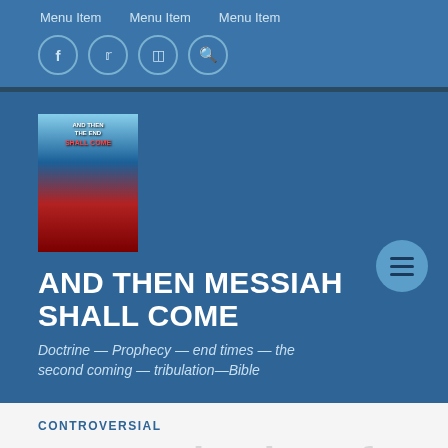Menu Item   Menu Item   Menu Item
[Figure (screenshot): Social media icon circles: Facebook, Twitter, Instagram, Search]
[Figure (photo): Book cover for 'And Then The End Shall Come']
AND THEN MESSIAH SHALL COME
Doctrine — Prophecy — end times — the second coming — tribulation—Bible
CONTROVERSIAL
An Examination of certain...